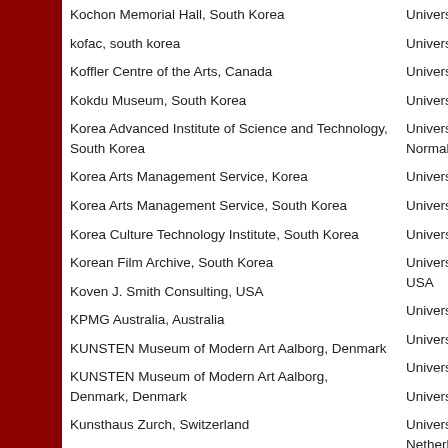Kochon Memorial Hall, South Korea
kofac, south korea
Koffler Centre of the Arts, Canada
Kokdu Museum, South Korea
Korea Advanced Institute of Science and Technology, South Korea
Korea Arts Management Service, Korea
Korea Arts Management Service, South Korea
Korea Culture Technology Institute, South Korea
Korean Film Archive, South Korea
Koven J. Smith Consulting, USA
KPMG Australia, Australia
KUNSTEN Museum of Modern Art Aalborg, Denmark
KUNSTEN Museum of Modern Art Aalborg, Denmark, Denmark
Kunsthaus Zurch, Switzerland
Kunstmuseum Basel - Bibliothek, Switzerland
KwaZulu-Natal Museum, South Africa
Kyung Hee University, South Korea
Universitat Politècn...
Universitat Politècn...
Universite de Montr...
Université de Nante...
Université Lyon 2-L... Normale Supérieure...
Universiteit van Am...
Universiti Malaysia...
Universiti Utara Mal...
University Center fo... USA
University College L...
University of Alberta...
University of Alberta...
University of Amste...
University of Applie... Netherlands
University of Arkans...
University of Athens...
University of Athens... Informatics and Tele...
ATHENA RC...